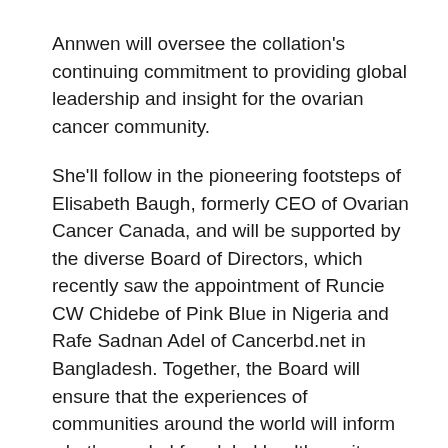Annwen will oversee the collation's continuing commitment to providing global leadership and insight for the ovarian cancer community.
She'll follow in the pioneering footsteps of Elisabeth Baugh, formerly CEO of Ovarian Cancer Canada, and will be supported by the diverse Board of Directors, which recently saw the appointment of Runcie CW Chidebe of Pink Blue in Nigeria and Rafe Sadnan Adel of Cancerbd.net in Bangladesh. Together, the Board will ensure that the experiences of communities around the world will inform what's needed for global health equity.
This includes the next chapter of the Every Woman Study. This will explore the experiences of women with ovarian cancer from